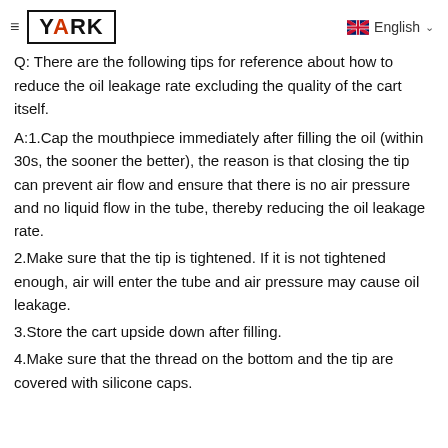≡ YARK   🇬🇧 English ∨
Q: There are the following tips for reference about how to reduce the oil leakage rate excluding the quality of the cart itself.
A:1.Cap the mouthpiece immediately after filling the oil (within 30s, the sooner the better), the reason is that closing the tip can prevent air flow and ensure that there is no air pressure and no liquid flow in the tube, thereby reducing the oil leakage rate.
2.Make sure that the tip is tightened. If it is not tightened enough, air will enter the tube and air pressure may cause oil leakage.
3.Store the cart upside down after filling.
4.Make sure that the thread on the bottom and the tip are covered with silicone caps.